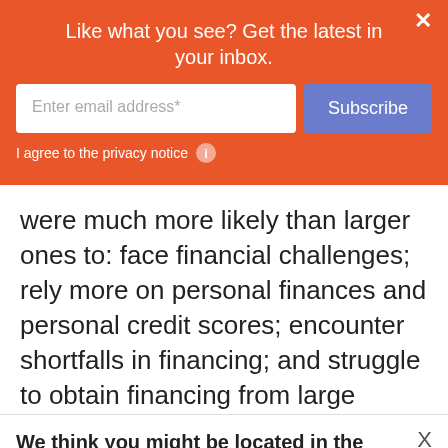Like what you see? Get the latest in your inbox.
Enter email address*
Subscribe
I agree to the privacy notice
were much more likely than larger ones to: face financial challenges; rely more on personal finances and personal credit scores; encounter shortfalls in financing; and struggle to obtain financing from large
We think you might be located in the United States. Go to our United States based website?
AUSTRALIA
UNITED STATES